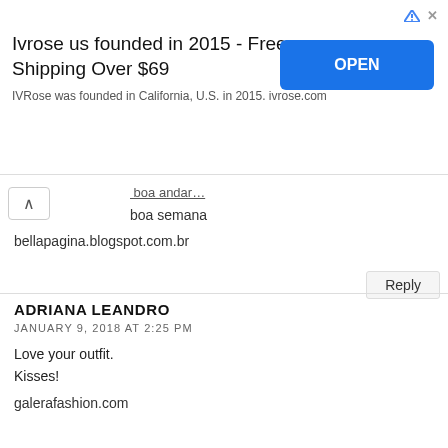[Figure (screenshot): Advertisement banner for IVRose: 'Ivrose us founded in 2015 - Free Shipping Over $69' with an OPEN button]
boa semana
bellapagina.blogspot.com.br
Reply
ADRIANA LEANDRO
JANUARY 9, 2018 AT 2:25 PM
Love your outfit.
Kisses!

galerafashion.com
Reply
YASMIN
JANUARY 9, 2018 AT 8:46 PM
Love your head to toe red look. When I feel red, I feel bold.